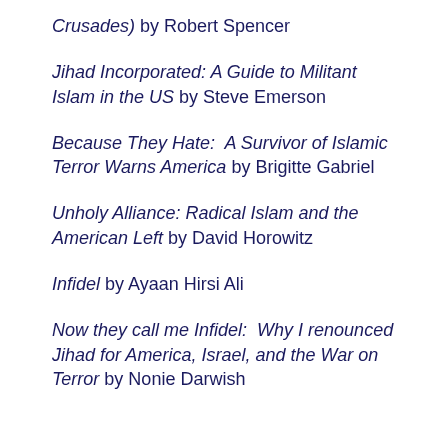Crusades) by Robert Spencer
Jihad Incorporated: A Guide to Militant Islam in the US by Steve Emerson
Because They Hate:  A Survivor of Islamic Terror Warns America by Brigitte Gabriel
Unholy Alliance: Radical Islam and the American Left by David Horowitz
Infidel by Ayaan Hirsi Ali
Now they call me Infidel:  Why I renounced Jihad for America, Israel, and the War on Terror by Nonie Darwish